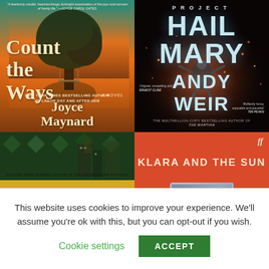[Figure (illustration): Four book covers arranged in a 2x2 grid. Top-left: 'Count the Ways' by Joyce Maynard (sunset/tree cover). Top-right: 'Project Hail Mary' by Andy Weir (dark sci-fi cover). Bottom-left: 'Colson' (yellow/green cover with Pulitzer Prize winner note). Bottom-right: 'Klara and the Sun' (red/orange cover, Faber & Faber).]
This website uses cookies to improve your experience. We'll assume you're ok with this, but you can opt-out if you wish.
Cookie settings   ACCEPT